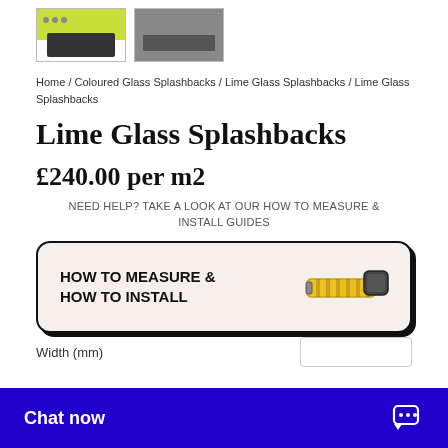[Figure (photo): Two thumbnail images of lime glass splashbacks in a kitchen setting]
Home / Coloured Glass Splashbacks / Lime Glass Splashbacks / Lime Glass Splashbacks
Lime Glass Splashbacks
£240.00 per m2
NEED HELP? TAKE A LOOK AT OUR HOW TO MEASURE & INSTALL GUIDES
[Figure (infographic): Banner with text HOW TO MEASURE & HOW TO INSTALL with tape measure image]
Width (mm)
Chat now